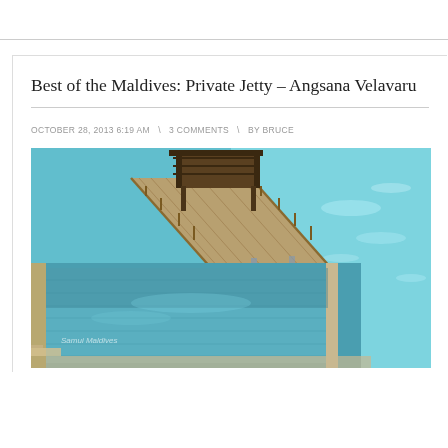Best of the Maldives: Private Jetty – Angsana Velavaru
OCTOBER 28, 2013 6:19 AM  \  3 COMMENTS  \  BY BRUCE
[Figure (photo): Aerial view of a private jetty with wooden walkway and pergola extending over turquoise water, with an infinity pool in the foreground at Angsana Velavaru, Maldives.]